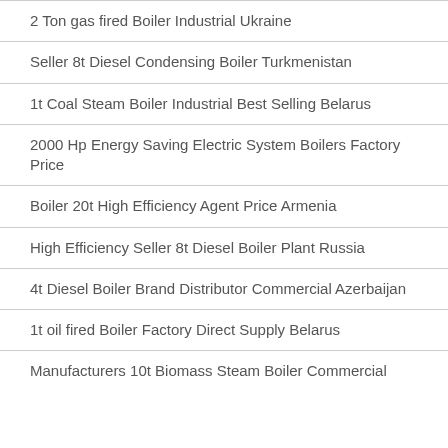2 Ton gas fired Boiler Industrial Ukraine
Seller 8t Diesel Condensing Boiler Turkmenistan
1t Coal Steam Boiler Industrial Best Selling Belarus
2000 Hp Energy Saving Electric System Boilers Factory Price
Boiler 20t High Efficiency Agent Price Armenia
High Efficiency Seller 8t Diesel Boiler Plant Russia
4t Diesel Boiler Brand Distributor Commercial Azerbaijan
1t oil fired Boiler Factory Direct Supply Belarus
Manufacturers 10t Biomass Steam Boiler Commercial